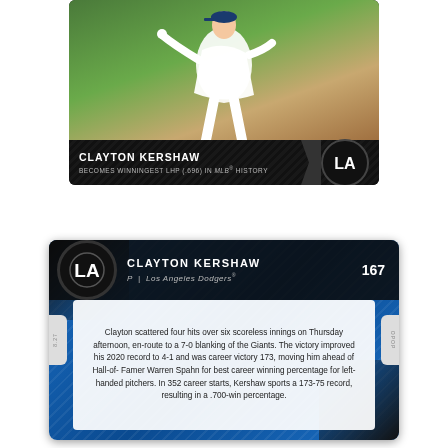[Figure (photo): Front of Clayton Kershaw baseball card showing pitcher in action with Dodgers LA logo and text: CLAYTON KERSHAW / BECOMES WINNINGEST LHP (.696) IN MLB HISTORY]
[Figure (photo): Back of Clayton Kershaw baseball card #167 showing LA Dodgers logo, position P, team Los Angeles Dodgers, and descriptive text about his career victory record]